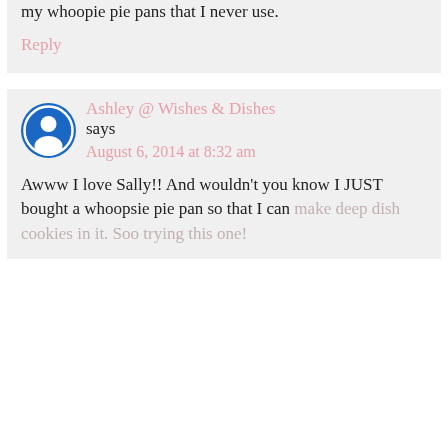YES!! I love these! Perfect use of my whoopie pie pans that I never use.
Reply
Ashley @ Wishes & Dishes says August 6, 2014 at 8:32 am
Awww I love Sally!! And wouldn't you know I JUST bought a whoopsie pie pan so that I can make deep dish cookies in it. Soo trying this one!